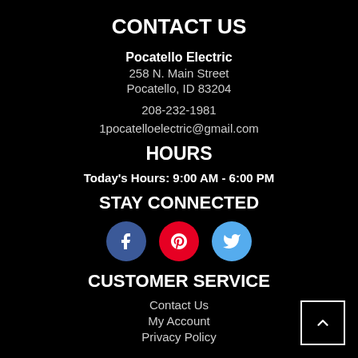CONTACT US
Pocatello Electric
258 N. Main Street
Pocatello, ID 83204
208-232-1981
1pocatelloelectric@gmail.com
HOURS
Today's Hours: 9:00 AM - 6:00 PM
STAY CONNECTED
[Figure (infographic): Three social media icon circles: Facebook (blue), Pinterest (red), Twitter (light blue)]
CUSTOMER SERVICE
Contact Us
My Account
Privacy Policy